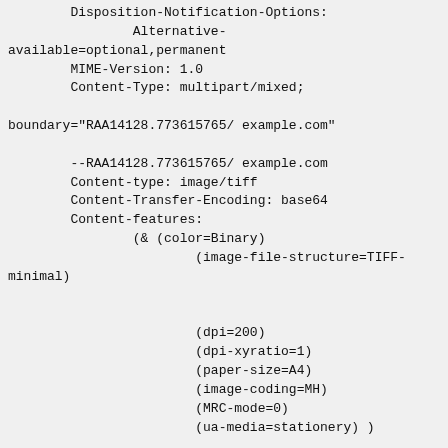Disposition-Notification-Options:
        Alternative-
available=optional,permanent
        MIME-Version: 1.0
        Content-Type: multipart/mixed;

boundary="RAA14128.773615765/ example.com"

        --RAA14128.773615765/ example.com
        Content-type: image/tiff
        Content-Transfer-Encoding: base64
        Content-features:
                (& (color=Binary)
                        (image-file-structure=TIFF-
minimal)


                        (dpi=200)
                        (dpi-xyratio=1)
                        (paper-size=A4)
                        (image-coding=MH)
                        (MRC-mode=0)
                        (ua-media=stationery) )